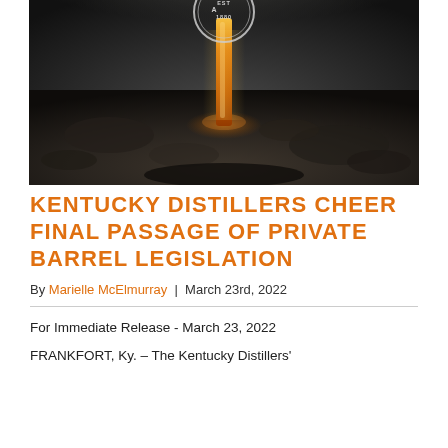[Figure (photo): Close-up photo of amber/golden whiskey or bourbon liquid streaming from a barrel spigot onto dark rocky ground below, with a circular badge/logo visible at top center reading 'EST 1880']
KENTUCKY DISTILLERS CHEER FINAL PASSAGE OF PRIVATE BARREL LEGISLATION
By Marielle McElmurray | March 23rd, 2022
For Immediate Release - March 23, 2022
FRANKFORT, Ky. – The Kentucky Distillers'